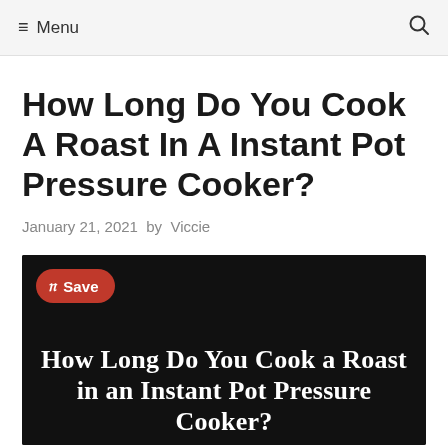≡ Menu  🔍
How Long Do You Cook A Roast In A Instant Pot Pressure Cooker?
January 21, 2021  by  Viccie
[Figure (photo): Dark background image with Pinterest Save button and bold white serif text reading 'How Long Do You Cook a Roast in an Instant Pot Pressure Cooker?']